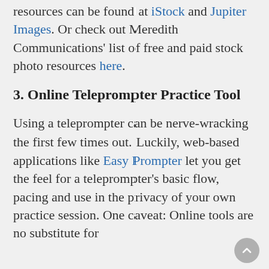resources can be found at iStock and Jupiter Images. Or check out Meredith Communications' list of free and paid stock photo resources here.
3. Online Teleprompter Practice Tool
Using a teleprompter can be nerve-wracking the first few times out. Luckily, web-based applications like Easy Prompter let you get the feel for a teleprompter's basic flow, pacing and use in the privacy of your own practice session. One caveat: Online tools are no substitute for